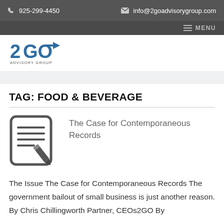925-299-4450   info@2goadvisorygroup.com
TAG: FOOD & BEVERAGE
[Figure (illustration): Icon of a document with lines of text and a pen/pencil writing on it, rounded square border, dark gray color]
The Case for Contemporaneous Records
The Issue The Case for Contemporaneous Records The government bailout of small business is just another reason. By Chris Chillingworth Partner, CEOs2GO By